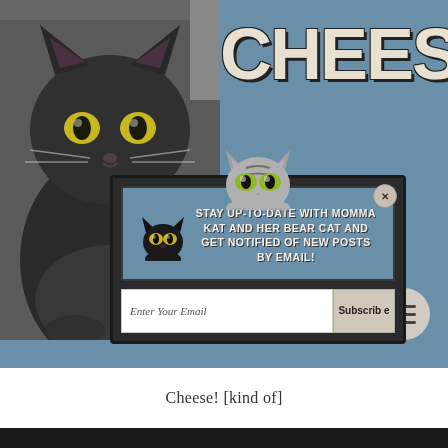[Figure (screenshot): Screenshot of a website page showing a black cat photo on the left, partial 'CHEESE!' title text on a blue background on the right, with a popup overlay dialog in the center containing a tabby cat icon, black cat icon, and text 'STAY UP-TO-DATE WITH MOMMA KAT AND HER BEAR CAT AND GET NOTIFIED OF NEW POSTS BY EMAIL!' with an email input field and Subscribe button, plus a hamburger menu button in the lower right.]
Cheese! [kind of]